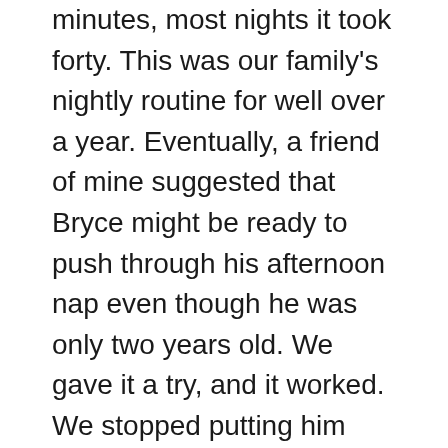minutes, most nights it took forty. This was our family's nightly routine for well over a year. Eventually, a friend of mine suggested that Bryce might be ready to push through his afternoon nap even though he was only two years old. We gave it a try, and it worked. We stopped putting him down for naps. If he falls asleep on his own, we wake him up after twenty minutes. Our son is finally going to bed by 8:30 pm each night.